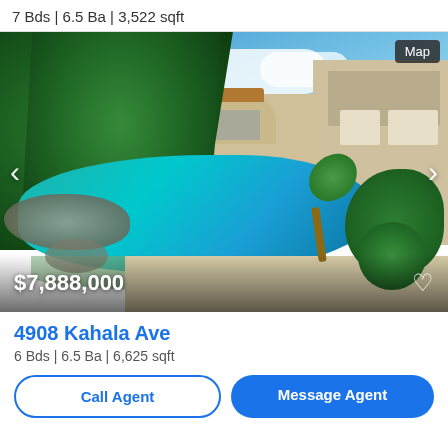7 Bds | 6.5 Ba | 3,522 sqft
[Figure (photo): Luxury home exterior with tropical pool, lush greenery, palm trees, and beige stucco building. Turquoise pool in foreground. Price overlay shows $7,888,000.]
4908 Kahala Ave
6 Bds | 6.5 Ba | 6,625 sqft
Call Agent
Message Agent